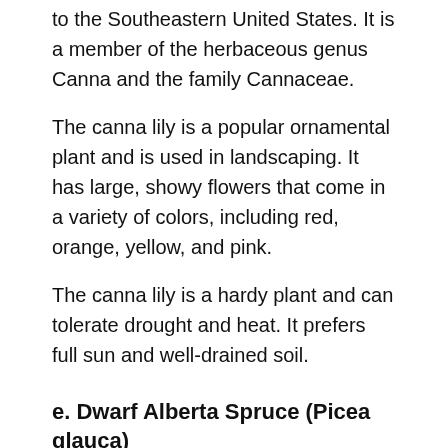to the Southeastern United States. It is a member of the herbaceous genus Canna and the family Cannaceae.
The canna lily is a popular ornamental plant and is used in landscaping. It has large, showy flowers that come in a variety of colors, including red, orange, yellow, and pink.
The canna lily is a hardy plant and can tolerate drought and heat. It prefers full sun and well-drained soil.
e. Dwarf Alberta Spruce (Picea glauca)
Dwarf Alberta Spruce is a species of spruce native to North America. It is a popular choice for tall outdoor potted plants, as it grows slowly and has a dense, conical form.
The needles are green and the cones are brown. Dwarf Alberta Spruce is tolerant of a range of soils and climates